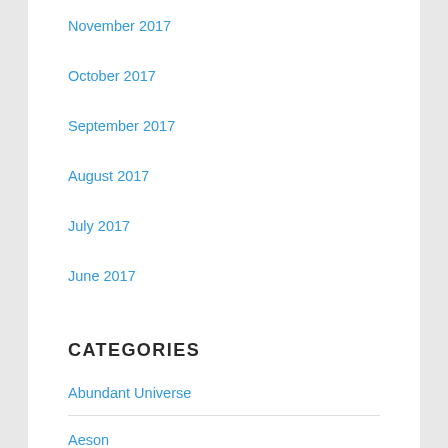November 2017
October 2017
September 2017
August 2017
July 2017
June 2017
May 2017
CATEGORIES
Abundant Universe
Aeson